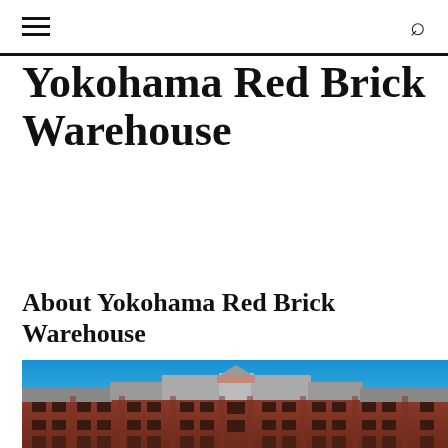≡  🔍
Yokohama Red Brick Warehouse
About Yokohama Red Brick Warehouse
[Figure (photo): Exterior photograph of the Yokohama Red Brick Warehouse, a historic red brick building with multiple arched windows and a blue sky backdrop]